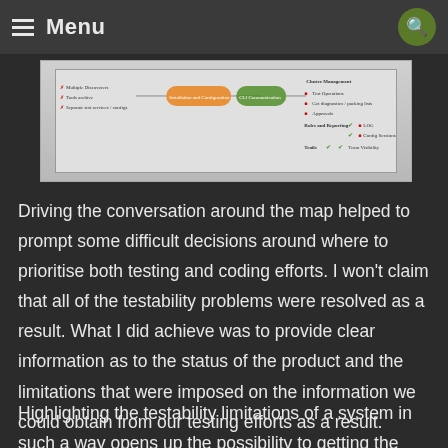Menu
[Figure (screenshot): A testability/dependency map diagram showing various test items with checkmarks and X marks indicating pass/fail status across multiple categories including Multiple Discoverers, Installation and Configuration, CLI Communication, Cluster Management, Roles and Reporting, Trails, and Team Visibility.]
Driving the conversation around the map helped to prompt some difficult decisions around where to prioritise both testing and coding efforts. I won't claim that all of the testability problems were resolved as a result. What I did achieve was to provide clear information as to the status of the product and the limitations that were imposed on the information we could obtain from our testing efforts as a result.
Highlighting the testability limitations of a system in such a way opens up the possibility to getting the work scheduled